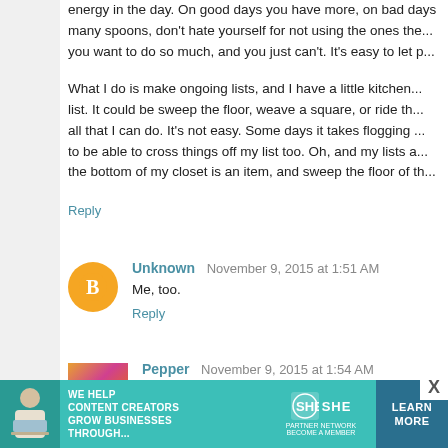energy in the day. On good days you have more, on bad days many spoons, don't hate yourself for not using the ones the... you want to do so much, and you just can't. It's easy to let p...
What I do is make ongoing lists, and I have a little kitchen... list. It could be sweep the floor, weave a square, or ride th... all that I can do. It's not easy. Some days it takes flogging ... to be able to cross things off my list too. Oh, and my lists a... the bottom of my closet is an item, and sweep the floor of th...
Reply
Unknown   November 9, 2015 at 1:51 AM
Me, too.
Reply
Pepper   November 9, 2015 at 1:54 AM
ME TOO!! The past week has been especially rough, thou... time (daylight savings time, I think).

Reading your blog posts like this, give me hope that t... I'm not alone. Thank you for that.
[Figure (infographic): SHE Media partner network advertisement banner at bottom of page]